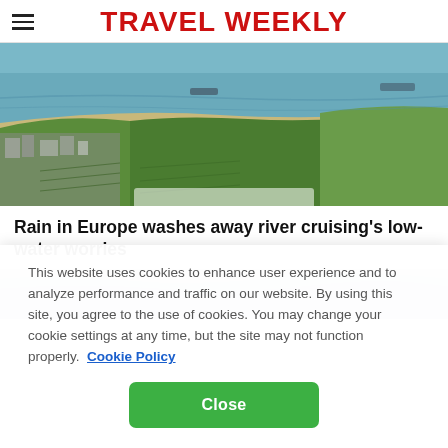TRAVEL WEEKLY
[Figure (photo): Aerial view of a European river town with green hillside vineyards, sandy riverbanks, and water in the background with boats.]
Rain in Europe washes away river cruising's low-water worries
[Figure (photo): Partial view of a second article image showing a cloudy sky over water, partially obscured by cookie consent overlay.]
This website uses cookies to enhance user experience and to analyze performance and traffic on our website. By using this site, you agree to the use of cookies. You may change your cookie settings at any time, but the site may not function properly.  Cookie Policy